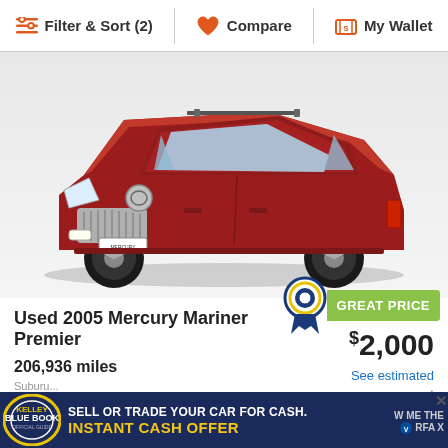Filter & Sort (2) | Compare | My Wallet
[Figure (photo): Red 2005 Mercury Mariner Premier SUV on white background, three-quarter front view]
GREAT PRICE
Used 2005 Mercury Mariner Premier
$2,000
See estimated payment
206,936 miles
[Figure (infographic): Kelley Blue Book banner ad: SELL OR TRADE YOUR CAR FOR CASH. INSTANT CASH OFFER. Partially visible Carfax logo on right.]